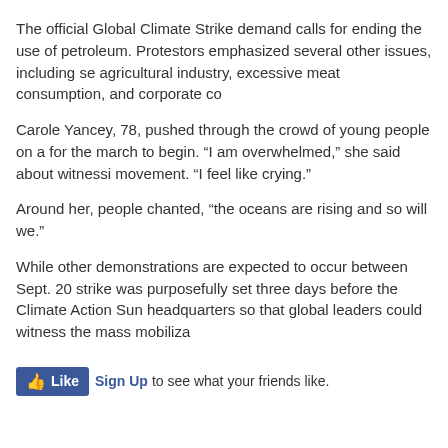The official Global Climate Strike demand calls for ending the use of petroleum. Protestors emphasized several other issues, including se agricultural industry, excessive meat consumption, and corporate co
Carole Yancey, 78, pushed through the crowd of young people on a for the march to begin. “I am overwhelmed,” she said about witnessi movement. “I feel like crying.”
Around her, people chanted, “the oceans are rising and so will we.”
While other demonstrations are expected to occur between Sept. 20 strike was purposefully set three days before the Climate Action Sun headquarters so that global leaders could witness the mass mobiliza
[Figure (screenshot): Facebook Like button with Sign Up link and text 'to see what your friends like.']